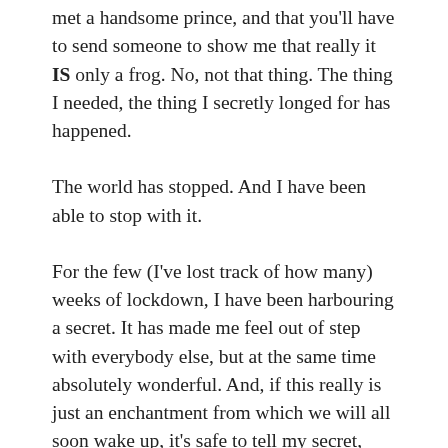met a handsome prince, and that you'll have to send someone to show me that really it IS only a frog. No, not that thing. The thing I needed, the thing I secretly longed for has happened.
The world has stopped. And I have been able to stop with it.
For the few (I've lost track of how many) weeks of lockdown, I have been harbouring a secret. It has made me feel out of step with everybody else, but at the same time absolutely wonderful. And, if this really is just an enchantment from which we will all soon wake up, it's safe to tell my secret, however it may shock.
In fact, I know it WILL shock, because right from the